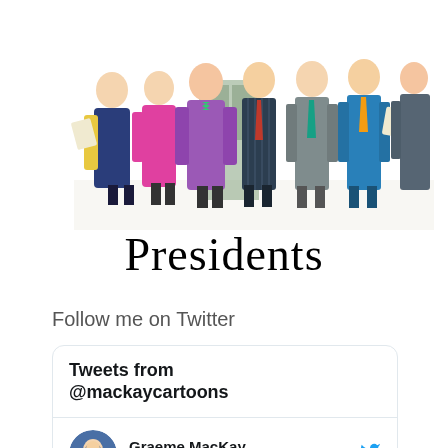[Figure (illustration): A colorful illustration of multiple US Presidents in historical and modern attire, standing together in a group, rendered in cartoon/caricature style.]
Presidents
Follow me on Twitter
[Figure (screenshot): Twitter widget showing 'Tweets from @mackaycartoons' header and a tweet row with Graeme MacKay's avatar, name, handle @mackaycartoons · 12h, and Twitter bird icon.]